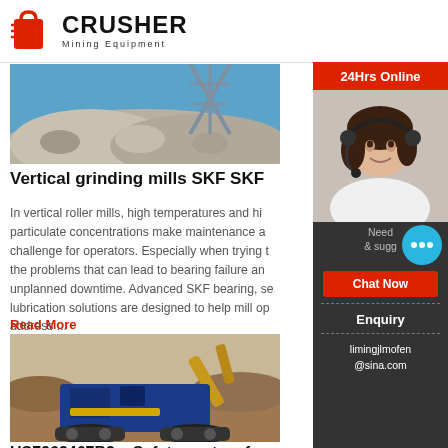[Figure (logo): Crusher Mining Equipment logo with red shopping bag icon and bold CRUSHER text]
[Figure (photo): Crushed rock/aggregate pile with blue steel structure in background]
Vertical grinding mills SKF SKF
In vertical roller mills, high temperatures and high particulate concentrations make maintenance a challenge for operators. Especially when trying the problems that can lead to bearing failure and unplanned downtime. Advanced SKF bearing, se lubrication solutions are designed to help mill op address ...
Read More
[Figure (photo): Blue tracked mobile jaw crusher in operation at a quarry site]
US7963467B2 – Safety system for a roller
[Figure (infographic): Sidebar with 24Hrs Online support agent photo, chat now button, enquiry section and email limingjlmofen@sina.com]